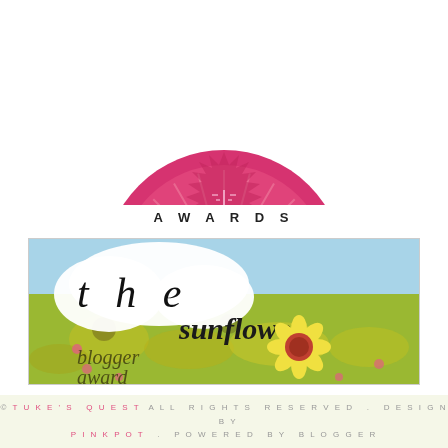[Figure (illustration): Pink sunflower blogger award badge with serrated edge, sun rays, and 'AWARD' text in the center, shown cropped from the top]
AWARDS
[Figure (illustration): The Sunflower Blogger Award banner image showing a field of sunflowers with text 'the sunflower blogger award' and a cartoon sunflower]
© TUKE'S QUEST ALL RIGHTS RESERVED . DESIGN BY PINKPOT . POWERED BY BLOGGER